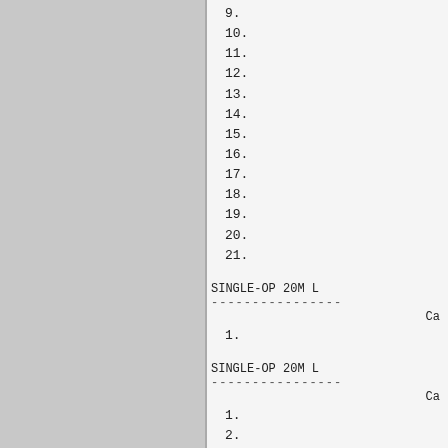[Figure (other): Gray textured background panel on left side of page]
9.
10.
11.
12.
13.
14.
15.
16.
17.
18.
19.
20.
21.
SINGLE-OP 20M L
Ca
1.
SINGLE-OP 20M L
Ca
1.
2.
3.